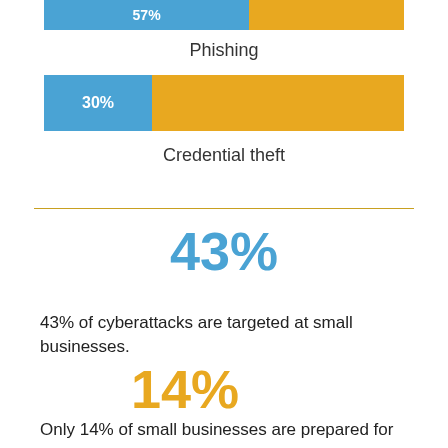[Figure (bar-chart): Phishing]
Phishing
[Figure (bar-chart): Credential theft]
Credential theft
43%
43% of cyberattacks are targeted at small businesses.
14%
Only 14% of small businesses are prepared for